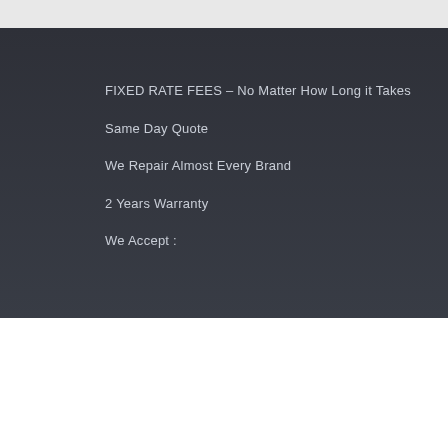FIXED RATE FEES – No Matter How Long it Takes
Same Day Quote
We Repair Almost Every Brand
2 Years Warranty
We Accept :